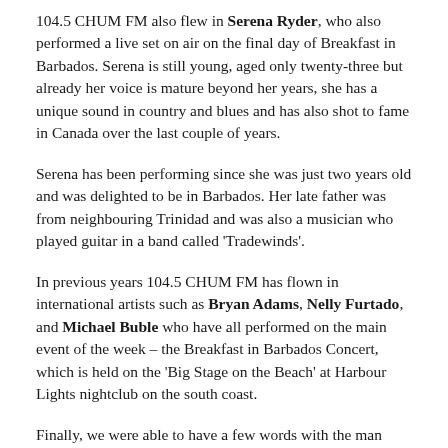104.5 CHUM FM also flew in Serena Ryder, who also performed a live set on air on the final day of Breakfast in Barbados. Serena is still young, aged only twenty-three but already her voice is mature beyond her years, she has a unique sound in country and blues and has also shot to fame in Canada over the last couple of years.
Serena has been performing since she was just two years old and was delighted to be in Barbados. Her late father was from neighbouring Trinidad and was also a musician who played guitar in a band called 'Tradewinds'.
In previous years 104.5 CHUM FM has flown in international artists such as Bryan Adams, Nelly Furtado, and Michael Buble who have all performed on the main event of the week – the Breakfast in Barbados Concert, which is held on the 'Big Stage on the Beach' at Harbour Lights nightclub on the south coast.
Finally, we were able to have a few words with the man